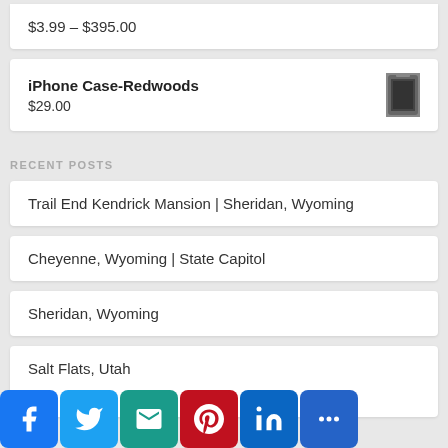$3.99 – $395.00
iPhone Case-Redwoods
$29.00
RECENT POSTS
Trail End Kendrick Mansion | Sheridan, Wyoming
Cheyenne, Wyoming | State Capitol
Sheridan, Wyoming
Salt Flats, Utah